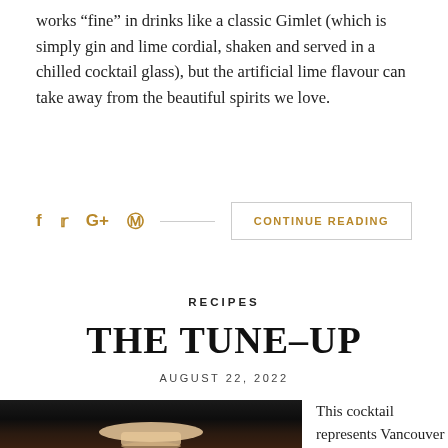works "fine" in drinks like a classic Gimlet (which is simply gin and lime cordial, shaken and served in a chilled cocktail glass), but the artificial lime flavour can take away from the beautiful spirits we love.
CONTINUE READING
RECIPES
THE TUNE-UP
AUGUST 22, 2022
[Figure (photo): Dark photograph of a cocktail glass containing a light pink/peach colored drink, shot against a very dark background]
This cocktail represents Vancouver during the late 1950s and early 1960s. Af...